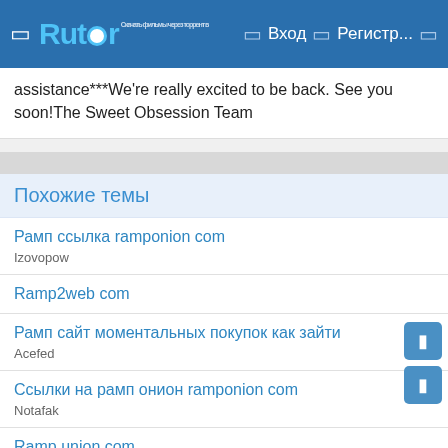Rutor  Вход  Регистр...
assistance***We're really excited to be back. See you soon!The Sweet Obsession Team
Похожие темы
Рамп ссылка ramponion com
Izovopow
Ramp2web com
Рамп сайт моментальных покупок как зайти
Acefed
Ссылки на рамп онион ramponion com
Notafak
Ramp union com
Akogat